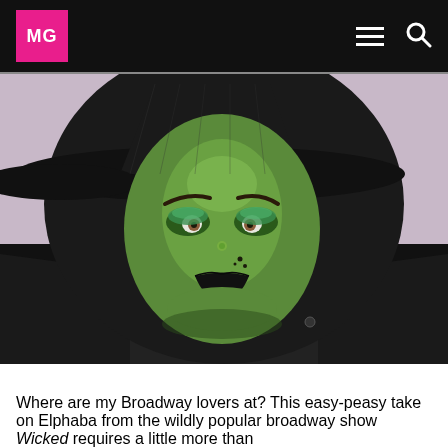MG
[Figure (photo): Person wearing green witch makeup (Elphaba from Wicked) with black witch hat, dramatic green face paint, dark lips, and black costume with white collar]
Where are my Broadway lovers at? This easy-peasy take on Elphaba from the wildly popular broadway show Wicked requires a little more than